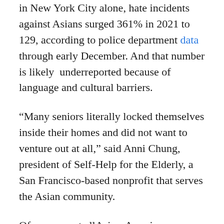in New York City alone, hate incidents against Asians surged 361% in 2021 to 129, according to police department data through early December. And that number is likely underreported because of language and cultural barriers.
“Many seniors literally locked themselves inside their homes and did not want to venture out at all,” said Anni Chung, president of Self-Help for the Elderly, a San Francisco-based nonprofit that serves the Asian community.
Of course, not allAsian-Americans are overly concerned with safety, but the jump in hate crimes has sent ripples through the community. This January, Homecrest’s senior center was vandalized or targeted several times. In one incident, rocks smashed through windows during a staff